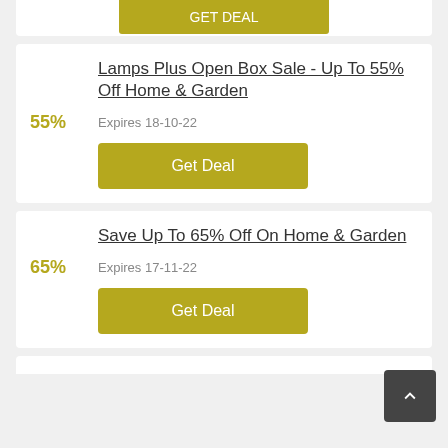[Figure (other): Partial yellow Get Deal button at top of page, cropped]
Lamps Plus Open Box Sale - Up To 55% Off Home & Garden
55%
Expires 18-10-22
Get Deal
Save Up To 65% Off On Home & Garden
65%
Expires 17-11-22
Get Deal